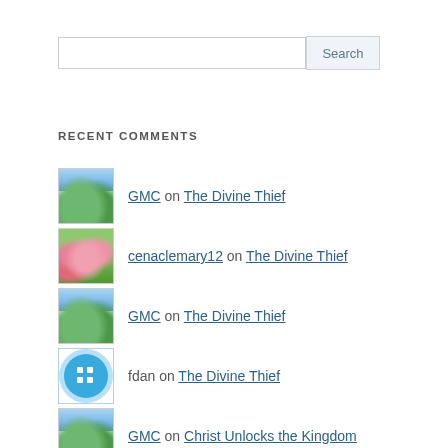[Figure (other): Search input box with Search button]
RECENT COMMENTS
GMC on The Divine Thief
cenaclemary12 on The Divine Thief
GMC on The Divine Thief
fdan on The Divine Thief
GMC on Christ Unlocks the Kingdom